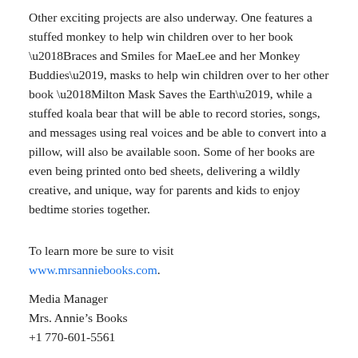Other exciting projects are also underway. One features a stuffed monkey to help win children over to her book ‘Braces and Smiles for MaeLee and her Monkey Buddies’, masks to help win children over to her other book ‘Milton Mask Saves the Earth’, while a stuffed koala bear that will be able to record stories, songs, and messages using real voices and be able to convert into a pillow, will also be available soon. Some of her books are even being printed onto bed sheets, delivering a wildly creative, and unique, way for parents and kids to enjoy bedtime stories together.
To learn more be sure to visit www.mrsanniebooks.com.
Media Manager
Mrs. Annie’s Books
+1 770-601-5561